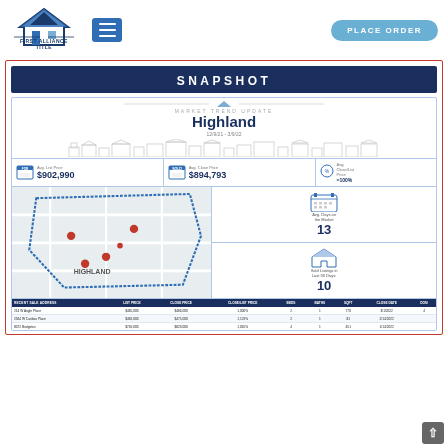[Figure (logo): First Alliance Title logo with house/roof icon and company name]
[Figure (infographic): Market Trend Update for Highland 12/9/21 - 3/9/22 showing Avg. List Price $902,990, Avg. Close Price $894,793, Avg. Close/List Price =100%, Avg. Days on the Market 13, Sold Listings in Last 90 Days 10, a map of Highland area, and a table of recent sale addresses with list price, close price, close/list price, beds, baths, sqft, close date, DOM]
SNAPSHOT